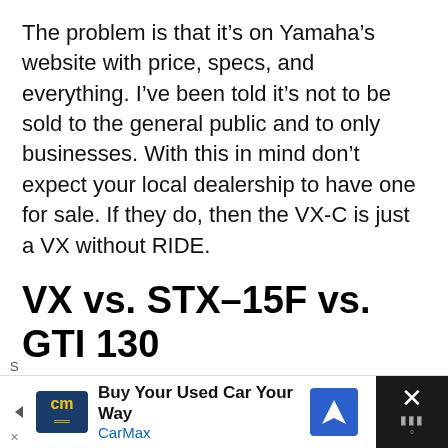The problem is that it's on Yamaha's website with price, specs, and everything. I've been told it's not to be sold to the general public and to only businesses. With this in mind don't expect your local dealership to have one for sale. If they do, then the VX-C is just a VX without RIDE.
VX vs. STX–15F vs. GTI 130
Yamaha VX $9,699
Kawasaki STX–15F $9,699
[Figure (other): CarMax advertisement banner: 'Buy Your Used Car Your Way – CarMax' with logo, navigation arrow icon, and close button]